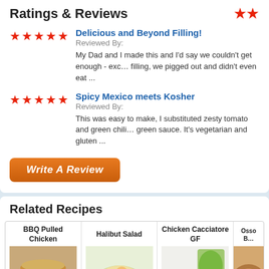Ratings & Reviews
Delicious and Beyond Filling! — Reviewed By: — My Dad and I made this and I'd say we couldn't get enough - exc… filling, we pigged out and didn't even eat ...
Spicy Mexico meets Kosher — Reviewed By: — This was easy to make, I substituted zesty tomato and green chili… green sauce. It's vegetarian and gluten ...
Write A Review
Related Recipes
[Figure (photo): BBQ Pulled Chicken sandwich photo]
[Figure (photo): Halibut Salad photo]
[Figure (photo): Chicken Cacciatore GF photo]
[Figure (photo): Osso Buco photo (partially visible)]